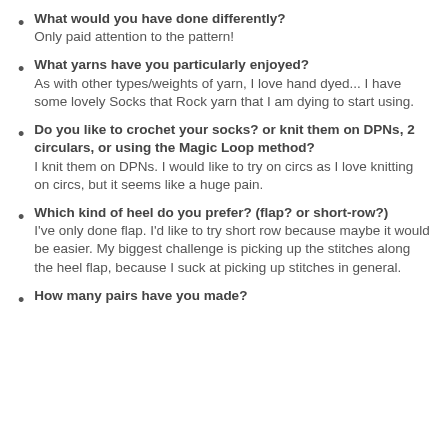What would you have done differently? Only paid attention to the pattern!
What yarns have you particularly enjoyed? As with other types/weights of yarn, I love hand dyed... I have some lovely Socks that Rock yarn that I am dying to start using.
Do you like to crochet your socks? or knit them on DPNs, 2 circulars, or using the Magic Loop method? I knit them on DPNs. I would like to try on circs as I love knitting on circs, but it seems like a huge pain.
Which kind of heel do you prefer? (flap? or short-row?) I've only done flap. I'd like to try short row because maybe it would be easier. My biggest challenge is picking up the stitches along the heel flap, because I suck at picking up stitches in general.
How many pairs have you made?